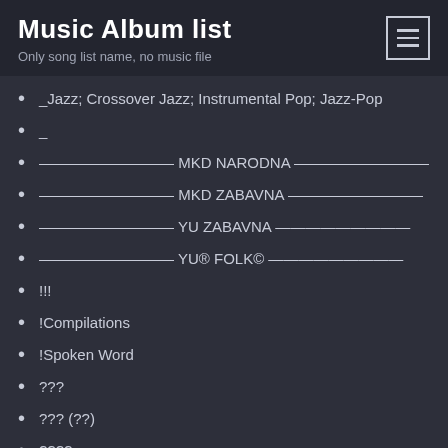Music Album list
Only song list name, no music file
_Jazz; Crossover Jazz; Instrumental Pop; Jazz-Pop
_
————————— MKD NARODNA —————————
————————— MKD ZABAVNA —————————
————————— YU ZABAVNA —————————
————————— YU® FOLK© —————————
!!!
!Compilations
!Spoken Word
???
??? (??)
????
?            ?
.
'60s Pop
'grindcore'
"Blues